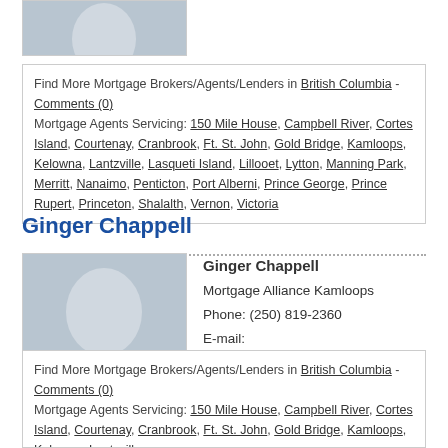[Figure (photo): Silhouette placeholder avatar image (partial, top of page, cropped)]
Find More Mortgage Brokers/Agents/Lenders in British Columbia - Comments (0)
Mortgage Agents Servicing: 150 Mile House, Campbell River, Cortes Island, Courtenay, Cranbrook, Ft. St. John, Gold Bridge, Kamloops, Kelowna, Lantzville, Lasqueti Island, Lillooet, Lytton, Manning Park, Merritt, Nanaimo, Penticton, Port Alberni, Prince George, Prince Rupert, Princeton, Shalalth, Vernon, Victoria
Ginger Chappell
[Figure (photo): Silhouette placeholder avatar image for Ginger Chappell]
Ginger Chappell
Mortgage Alliance Kamloops
Phone: (250) 819-2360
E-mail: gchappell@mortgagealliance.com
Find More Mortgage Brokers/Agents/Lenders in British Columbia - Comments (0)
Mortgage Agents Servicing: 150 Mile House, Campbell River, Cortes Island, Courtenay, Cranbrook, Ft. St. John, Gold Bridge, Kamloops, Kelowna, Lantzville, Lasqueti Island, Lillooet, Lytton, Manning Park, Merritt, Nanaimo, Penticton, Port...